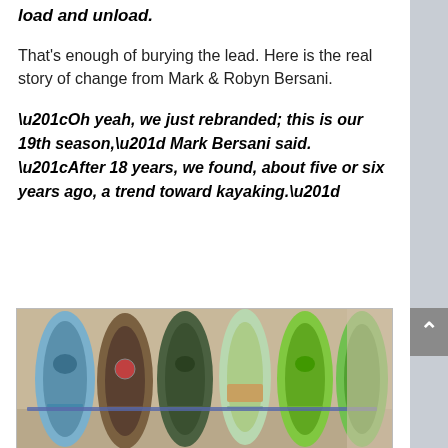load and unload.
That's enough of burying the lead. Here is the real story of change from Mark & Robyn Bersani.
“Oh yeah, we just rebranded; this is our 19th season,” Mark Bersani said. “After 18 years, we found, about five or six years ago, a trend toward kayaking.”
[Figure (photo): Multiple kayaks stored vertically in a rack inside a building. Kayaks are various colors including blue, dark green/camo, light green/camo, mint/light, and lime green, viewed from above/top.]